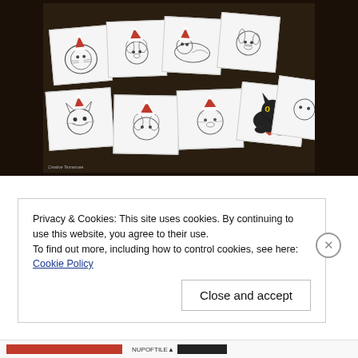[Figure (photo): Photograph of multiple greeting cards featuring hand-drawn sketches of cats and dogs wearing Santa hats, spread out on a dark wooden surface. Cards show various pet illustrations in black ink with red Santa hat accents.]
Privacy & Cookies: This site uses cookies. By continuing to use this website, you agree to their use.
To find out more, including how to control cookies, see here: Cookie Policy
Close and accept